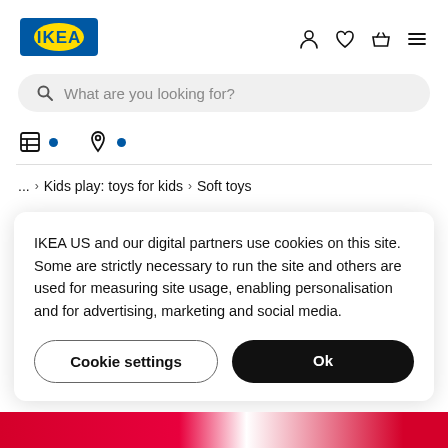[Figure (logo): IKEA blue and yellow logo in top left]
What are you looking for?
... › Kids play: toys for kids › Soft toys
IKEA US and our digital partners use cookies on this site. Some are strictly necessary to run the site and others are used for measuring site usage, enabling personalisation and for advertising, marketing and social media.
Cookie settings
Ok